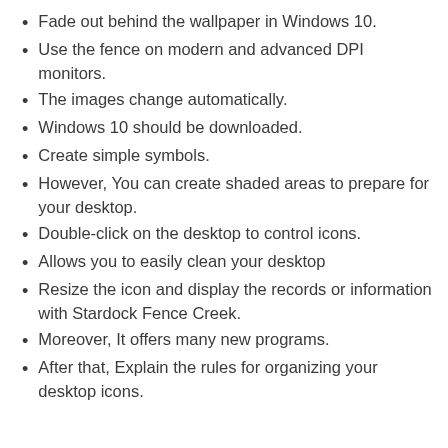Fade out behind the wallpaper in Windows 10.
Use the fence on modern and advanced DPI monitors.
The images change automatically.
Windows 10 should be downloaded.
Create simple symbols.
However, You can create shaded areas to prepare for your desktop.
Double-click on the desktop to control icons.
Allows you to easily clean your desktop
Resize the icon and display the records or information with Stardock Fence Creek.
Moreover, It offers many new programs.
After that, Explain the rules for organizing your desktop icons.